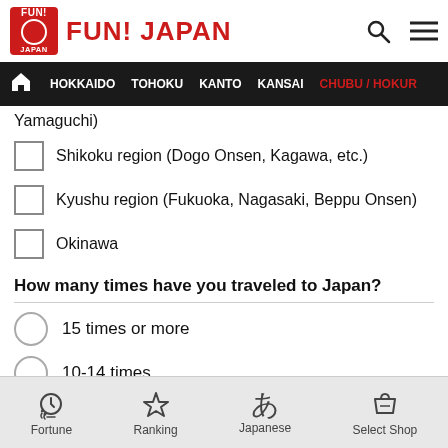FUN! JAPAN
HOKKAIDO  TOHOKU  KANTO  KANSAI  CHUBU / HOKUR
Yamaguchi)
Shikoku region (Dogo Onsen, Kagawa, etc.)
Kyushu region (Fukuoka, Nagasaki, Beppu Onsen)
Okinawa
How many times have you traveled to Japan?
15 times or more
10-14 times
6-9 times
3-5 times
1-2 times
Fortune  Ranking  Japanese  Select Shop